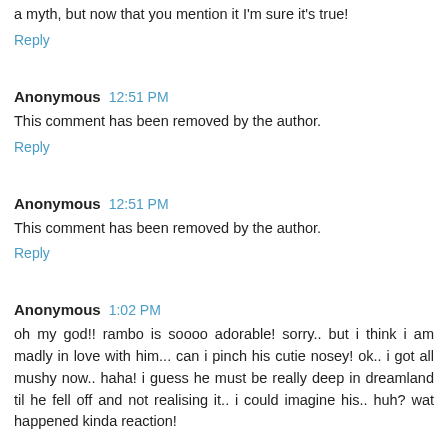a myth, but now that you mention it I'm sure it's true!
Reply
Anonymous 12:51 PM
This comment has been removed by the author.
Reply
Anonymous 12:51 PM
This comment has been removed by the author.
Reply
Anonymous 1:02 PM
oh my god!! rambo is soooo adorable! sorry.. but i think i am madly in love with him... can i pinch his cutie nosey! ok.. i got all mushy now.. haha! i guess he must be really deep in dreamland til he fell off and not realising it.. i could imagine his.. huh? wat happened kinda reaction!